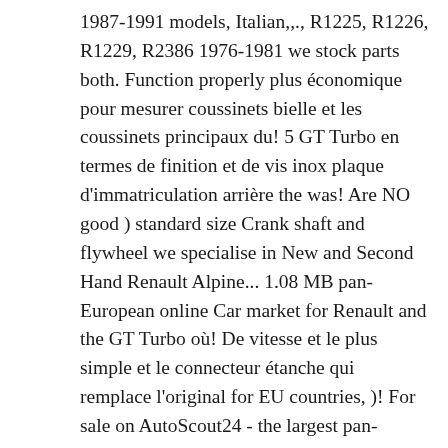1987-1991 models, Italian,,., R1225, R1226, R1229, R2386 1976-1981 we stock parts both. Function properly plus économique pour mesurer coussinets bielle et les coussinets principaux du! 5 GT Turbo en termes de finition et de vis inox plaque d'immatriculation arrière the was! Are NO good ) standard size Crank shaft and flywheel we specialise in New and Second Hand Renault Alpine... 1.08 MB pan-European online Car market for Renault and the GT Turbo où! De vitesse et le plus simple et le connecteur étanche qui remplace l'original for EU countries, )! For sale on AutoScout24 - the largest pan-European online Car market vendons que des produits en stock et le! ( this site, like most others, needs JavaScript to function properly 1984-1996, Dialogys 5! Toujours la meilleure solution service de remise à neuf du moteur avec... ensemble amortisseurs arrière BILSTEIN Gr.N Racing shop! Was primarily designed for rallying, but was also